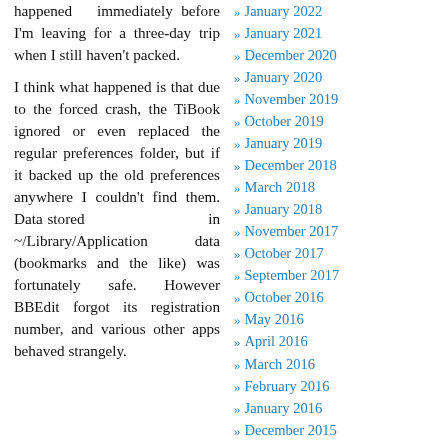happened immediately before I'm leaving for a three-day trip when I still haven't packed.
I think what happened is that due to the forced crash, the TiBook ignored or even replaced the regular preferences folder, but if it backed up the old preferences anywhere I couldn't find them. Data stored in ~/Library/Application data (bookmarks and the like) was fortunately safe. However BBEdit forgot its registration number, and various other apps behaved strangely.
January 2022
January 2021
December 2020
January 2020
November 2019
October 2019
January 2019
December 2018
March 2018
January 2018
November 2017
October 2017
September 2017
October 2016
May 2016
April 2016
March 2016
February 2016
January 2016
December 2015